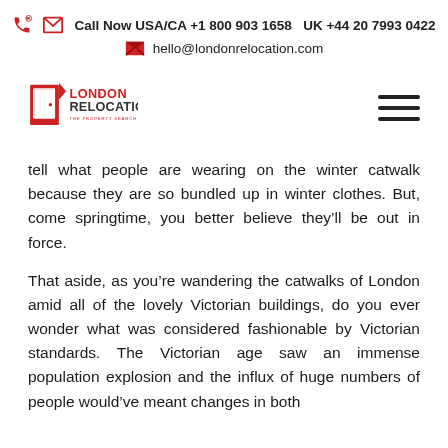Call Now USA/CA +1 800 903 1658   UK +44 20 7993 0422
hello@londonrelocation.com
[Figure (logo): London Relocation – The Property Search Company logo (red door icon with company name)]
tell what people are wearing on the winter catwalk because they are so bundled up in winter clothes. But, come springtime, you better believe they'll be out in force.
That aside, as you're wandering the catwalks of London amid all of the lovely Victorian buildings, do you ever wonder what was considered fashionable by Victorian standards. The Victorian age saw an immense population explosion and the influx of huge numbers of people would've meant changes in both